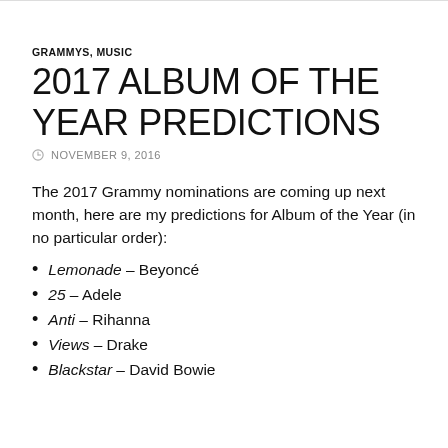GRAMMYS, MUSIC
2017 ALBUM OF THE YEAR PREDICTIONS
NOVEMBER 9, 2016
The 2017 Grammy nominations are coming up next month, here are my predictions for Album of the Year (in no particular order):
Lemonade – Beyoncé
25 – Adele
Anti – Rihanna
Views – Drake
Blackstar – David Bowie